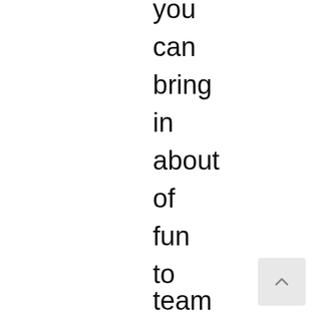you
can
bring
in
about
of
fun
to
team